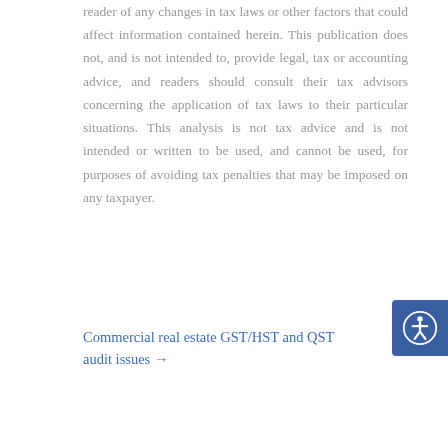reader of any changes in tax laws or other factors that could affect information contained herein. This publication does not, and is not intended to, provide legal, tax or accounting advice, and readers should consult their tax advisors concerning the application of tax laws to their particular situations. This analysis is not tax advice and is not intended or written to be used, and cannot be used, for purposes of avoiding tax penalties that may be imposed on any taxpayer.
Commercial real estate GST/HST and QST audit issues →